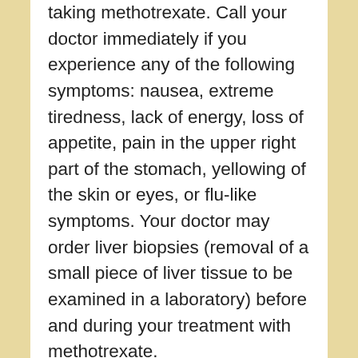taking methotrexate. Call your doctor immediately if you experience any of the following symptoms: nausea, extreme tiredness, lack of energy, loss of appetite, pain in the upper right part of the stomach, yellowing of the skin or eyes, or flu-like symptoms. Your doctor may order liver biopsies (removal of a small piece of liver tissue to be examined in a laboratory) before and during your treatment with methotrexate.
Methotrexate may cause lung damage. Tell your doctor if you have or have ever had lung disease. Call